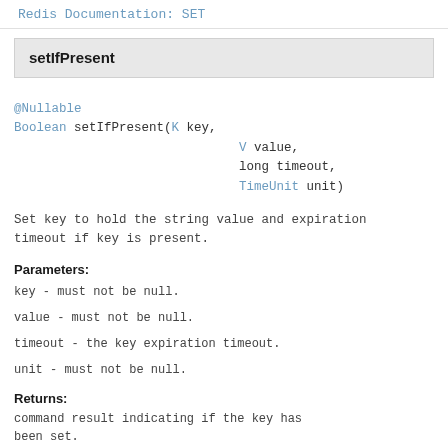Redis Documentation: SET
setIfPresent
@Nullable
Boolean setIfPresent(K key,
                              V value,
                              long timeout,
                              TimeUnit unit)
Set key to hold the string value and expiration timeout if key is present.
Parameters:
key - must not be null.
value - must not be null.
timeout - the key expiration timeout.
unit - must not be null.
Returns:
command result indicating if the key has been set.